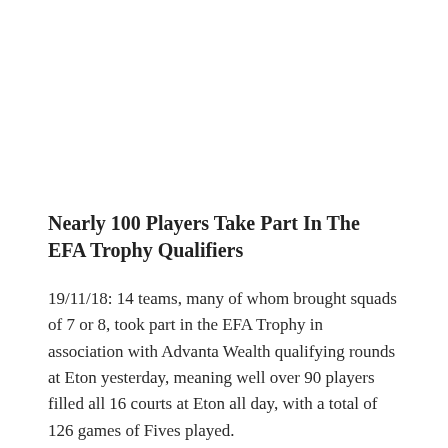Nearly 100 Players Take Part In The EFA Trophy Qualifiers
19/11/18: 14 teams, many of whom brought squads of 7 or 8, took part in the EFA Trophy in association with Advanta Wealth qualifying rounds at Eton yesterday, meaning well over 90 players filled all 16 courts at Eton all day, with a total of 126 games of Fives played.